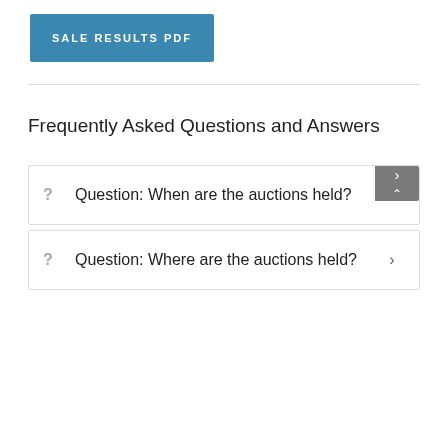SALE RESULTS PDF
Frequently Asked Questions and Answers
Question: When are the auctions held?
Question: Where are the auctions held?